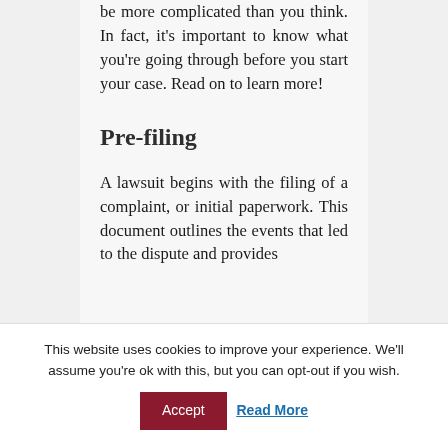be more complicated than you think. In fact, it's important to know what you're going through before you start your case. Read on to learn more!
Pre-filing
A lawsuit begins with the filing of a complaint, or initial paperwork. This document outlines the events that led to the dispute and provides
This website uses cookies to improve your experience. We'll assume you're ok with this, but you can opt-out if you wish.